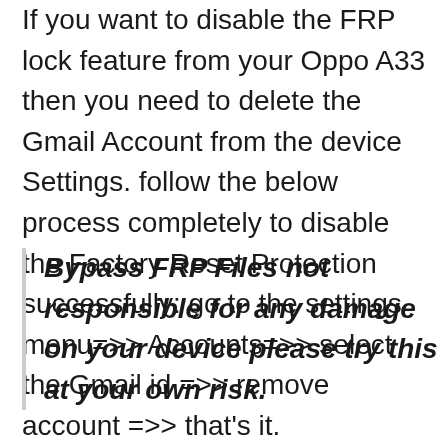If you want to disable the FRP lock feature from your Oppo A33 then you need to delete the Gmail Account from the device Settings. follow the below process completely to disable the Factory Reset Protection successfully: go to the settings menu=>> Accounts=>> select the Gmail id =>> remove account =>> that's it.
Bypass FRP Files not responsible for any damage on your device please try this at your own risk.